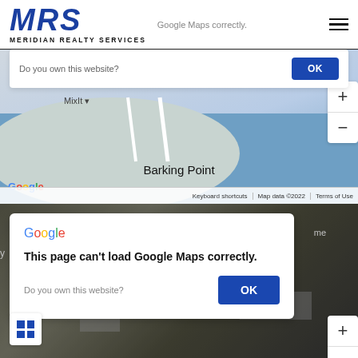MRS MERIDIAN REALTY SERVICES
[Figure (screenshot): Google Maps embed with 'This page can't load Google Maps correctly' dialog showing 'Do you own this website?' and OK button. Map shows Barking Point area with map zoom controls. Bottom bar shows Keyboard shortcuts | Map data ©2022 | Terms of Use. Google logo visible lower left.]
[Figure (screenshot): Second Google Maps embed (satellite view) with same error dialog: Google logo, 'This page can't load Google Maps correctly.' bold heading, 'Do you own this website?' text and blue OK button. Satellite imagery visible in background. Grid/layers button visible lower left. Zoom controls visible right side.]